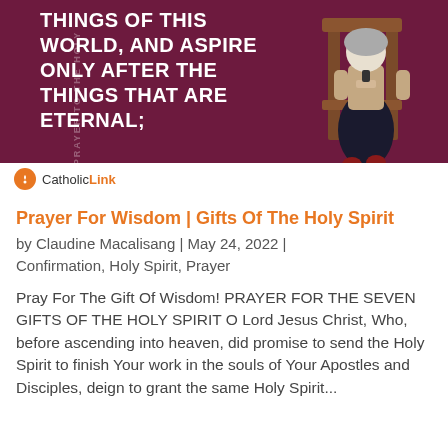[Figure (illustration): A dark magenta/maroon background illustration showing a person in a black skirt kneeling or standing at a wooden kneeler/pew. White bold text reads 'THINGS OF THIS WORLD, AND ASPIRE ONLY AFTER THE THINGS THAT ARE ETERNAL;'. Rotated text on left side reads 'PRAYER TO THE HOLY'. Bottom bar shows CatholicLink logo.]
Prayer For Wisdom | Gifts Of The Holy Spirit
by Claudine Macalisang | May 24, 2022 | Confirmation, Holy Spirit, Prayer
Pray For The Gift Of Wisdom! PRAYER FOR THE SEVEN GIFTS OF THE HOLY SPIRIT O Lord Jesus Christ, Who, before ascending into heaven, did promise to send the Holy Spirit to finish Your work in the souls of Your Apostles and Disciples, deign to grant the same Holy Spirit...